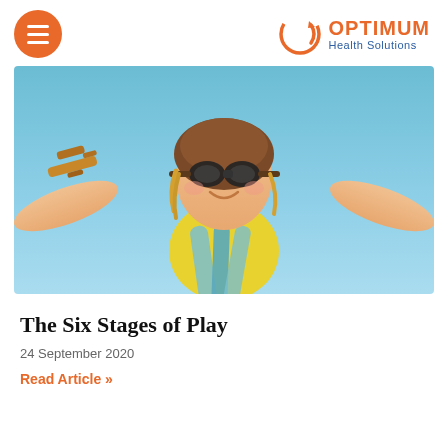Optimum Health Solutions
[Figure (photo): A child wearing aviator goggles and a leather pilot cap, arms outstretched holding a wooden toy airplane against a blue sky background, wearing a yellow shirt and blue scarf.]
The Six Stages of Play
24 September 2020
Read Article »